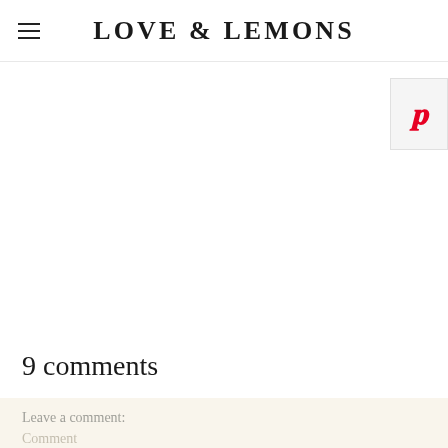LOVE & LEMONS
9 comments
Leave a comment:
Comment